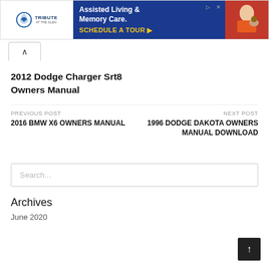[Figure (screenshot): Advertisement banner for Tribute at the Glen, Assisted Living & Memory Care, with Schedule a Tour CTA and elderly woman with dog photo]
2012 Dodge Charger Srt8 Owners Manual
PREVIOUS POST
2016 BMW X6 OWNERS MANUAL
NEXT POST
1996 DODGE DAKOTA OWNERS MANUAL DOWNLOAD
Search...
Archives
June 2020